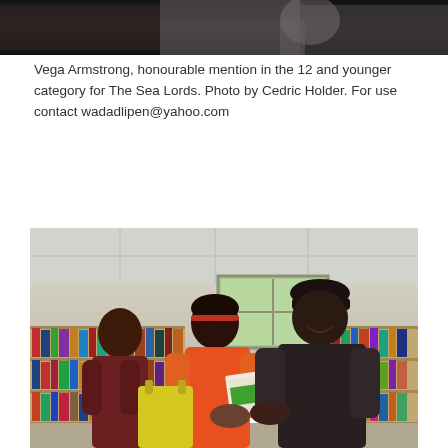[Figure (photo): Top portion of a photograph showing people in a library setting, cropped to show background elements]
Vega Armstrong, honourable mention in the 12 and younger category for The Sea Lords. Photo by Cedric Holder. For use contact wadadlipen@yahoo.com
[Figure (photo): Photograph of a young girl in an orange top receiving something from an older man wearing a black cap, inside a library with bookshelves in the background. Another woman stands to the left. A yellow bag is visible in the foreground.]